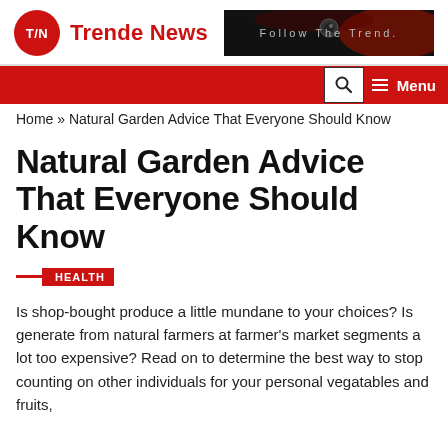T/N  Trende News  |  Follow The Trend
Home » Natural Garden Advice That Everyone Should Know
Natural Garden Advice That Everyone Should Know
HEALTH
Is shop-bought produce a little mundane to your choices? Is generate from natural farmers at farmer's market segments a lot too expensive? Read on to determine the best way to stop counting on other individuals for your personal vegatables and fruits,